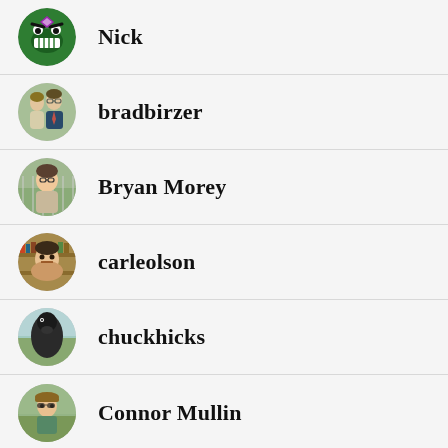Nick
bradbirzer
Bryan Morey
carleolson
chuckhicks
Connor Mullin